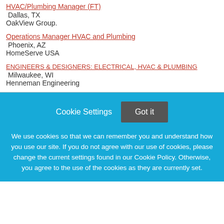HVAC/Plumbing Manager (FT)
Dallas, TX
OakView Group.
Operations Manager HVAC and Plumbing
Phoenix, AZ
HomeServe USA
ENGINEERS & DESIGNERS: ELECTRICAL, HVAC & PLUMBING
Milwaukee, WI
Henneman Engineering
Cookie Settings   Got it
We use cookies so that we can remember you and understand how you use our site. If you do not agree with our use of cookies, please change the current settings found in our Cookie Policy. Otherwise, you agree to the use of the cookies as they are currently set.